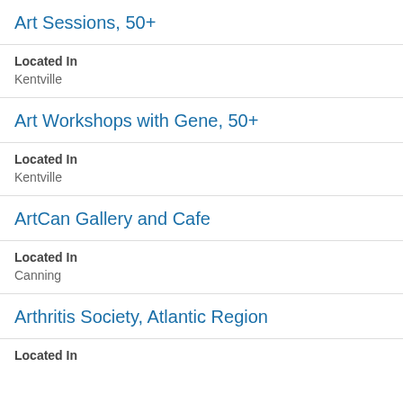Art Sessions, 50+
Located In
Kentville
Art Workshops with Gene, 50+
Located In
Kentville
ArtCan Gallery and Cafe
Located In
Canning
Arthritis Society, Atlantic Region
Located In